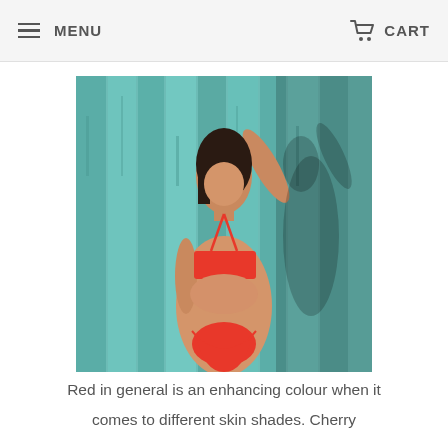MENU   CART
[Figure (photo): Woman in a red bikini (bandeau top and thong bottom) posing against a teal/turquoise weathered wooden wall background, with one arm raised behind her head.]
Red in general is an enhancing colour when it comes to different skin shades. Cherry